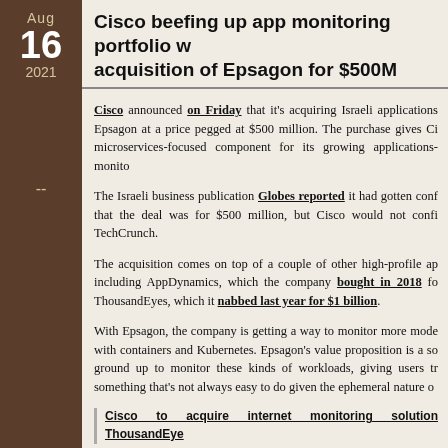Aug 16 2021
Cisco beefing up app monitoring portfolio with acquisition of Epsagon for $500M
Cisco announced on Friday that it's acquiring Israeli applications Epsagon at a price pegged at $500 million. The purchase gives Cisco a microservices-focused component for its growing applications-monitoring portfolio.
The Israeli business publication Globes reported it had gotten confirmation that the deal was for $500 million, but Cisco would not confirm to TechCrunch.
The acquisition comes on top of a couple of other high-profile app purchases, including AppDynamics, which the company bought in 2018 for and ThousandEyes, which it nabbed last year for $1 billion.
With Epsagon, the company is getting a way to monitor more modern workloads with containers and Kubernetes. Epsagon's value proposition is a solution built from the ground up to monitor these kinds of workloads, giving users tracing and something that's not always easy to do given the ephemeral nature of containers.
Cisco to acquire internet monitoring solution ThousandEyes